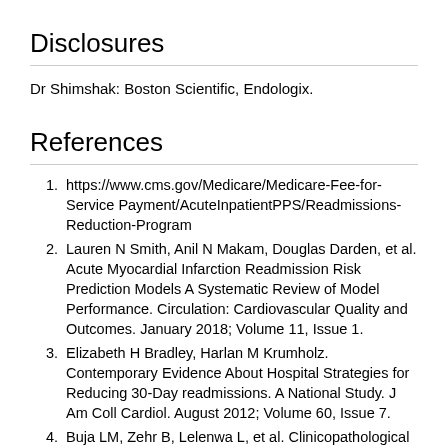Disclosures
Dr Shimshak: Boston Scientific, Endologix.
References
https://www.cms.gov/Medicare/Medicare-Fee-for-Service Payment/AcuteInpatientPPS/Readmissions-Reduction-Program
Lauren N Smith, Anil N Makam, Douglas Darden, et al. Acute Myocardial Infarction Readmission Risk Prediction Models A Systematic Review of Model Performance. Circulation: Cardiovascular Quality and Outcomes. January 2018; Volume 11, Issue 1.
Elizabeth H Bradley, Harlan M Krumholz. Contemporary Evidence About Hospital Strategies for Reducing 30-Day readmissions. A National Study. J Am Coll Cardiol. August 2012; Volume 60, Issue 7.
Buja LM, Zehr B, Lelenwa L, et al. Clinicopathological